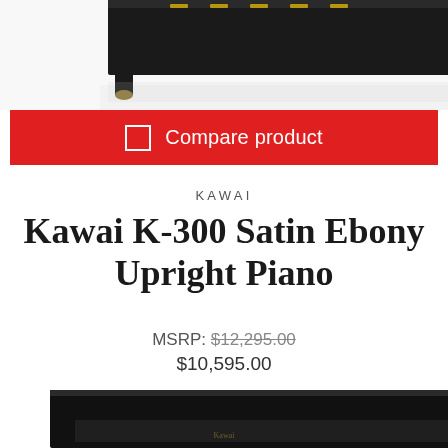[Figure (photo): Top portion of a Kawai upright piano in satin ebony finish, showing the top section with brass accents and feet, on a white reflective surface.]
Compare product
KAWAI
Kawai K-300 Satin Ebony Upright Piano
MSRP: $12,295.00
$10,595.00
[Figure (photo): Bottom portion of a Kawai upright piano in polished ebony finish, showing the lower body and keyboard area.]